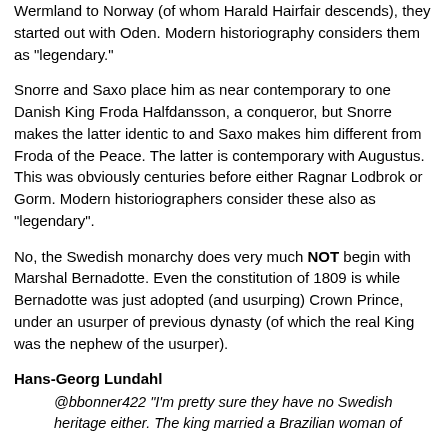Wermland to Norway (of whom Harald Hairfair descends), they started out with Oden. Modern historiography considers them as "legendary."
Snorre and Saxo place him as near contemporary to one Danish King Froda Halfdansson, a conqueror, but Snorre makes the latter identic to and Saxo makes him different from Froda of the Peace. The latter is contemporary with Augustus. This was obviously centuries before either Ragnar Lodbrok or Gorm. Modern historiographers consider these also as "legendary".
No, the Swedish monarchy does very much NOT begin with Marshal Bernadotte. Even the constitution of 1809 is while Bernadotte was just adopted (and usurping) Crown Prince, under an usurper of previous dynasty (of which the real King was the nephew of the usurper).
Hans-Georg Lundahl
@bbonner422 "I'm pretty sure they have no Swedish heritage either. The king married a Brazilian woman of